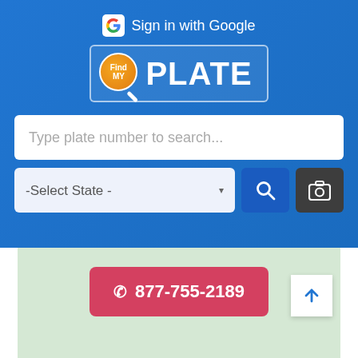[Figure (screenshot): FindPlate app interface with Sign in with Google button at top, FindPlate logo, a search bar reading 'Type plate number to search...', a state selector dropdown '-Select State -', a search button, and a camera button, all on a blue background. Below is a light green map area with a red phone button showing '877-755-2189' and a white scroll-up arrow button.]